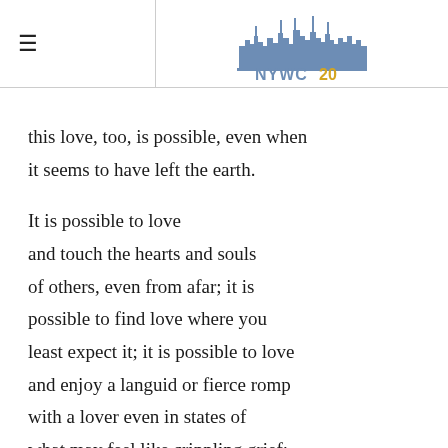≡  NYWC20
this love, too, is possible, even when it seems to have left the earth.

It is possible to love and touch the hearts and souls of others, even from afar; it is possible to find love where you least expect it; it is possible to love and enjoy a languid or fierce romp with a lover even in states of what may feel like crippling grief;